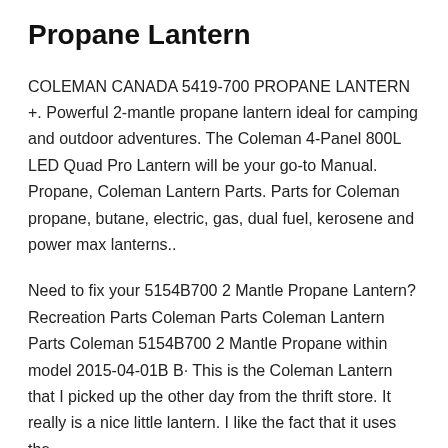Propane Lantern
COLEMAN CANADA 5419-700 PROPANE LANTERN +. Powerful 2-mantle propane lantern ideal for camping and outdoor adventures. The Coleman 4-Panel 800L LED Quad Pro Lantern will be your go-to Manual. Propane, Coleman Lantern Parts. Parts for Coleman propane, butane, electric, gas, dual fuel, kerosene and power max lanterns..
Need to fix your 5154B700 2 Mantle Propane Lantern? Recreation Parts Coleman Parts Coleman Lantern Parts Coleman 5154B700 2 Mantle Propane within model 2015-04-01B B· This is the Coleman Lantern that I picked up the other day from the thrift store. It really is a nice little lantern. I like the fact that it uses the
Globes for Coleman Lantern Models: 5107, 5107A-C, 5151-